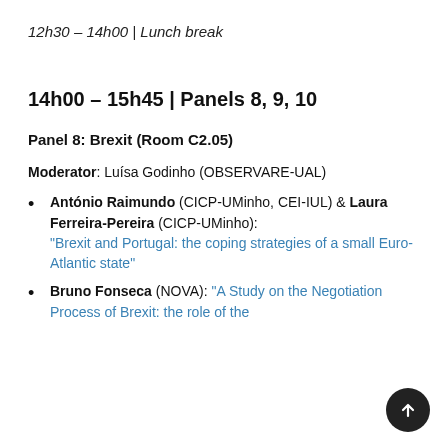12h30 – 14h00 | Lunch break
14h00 – 15h45 | Panels 8, 9, 10
Panel 8: Brexit (Room C2.05)
Moderator: Luísa Godinho (OBSERVARE-UAL)
António Raimundo (CICP-UMinho, CEI-IUL) & Laura Ferreira-Pereira (CICP-UMinho): "Brexit and Portugal: the coping strategies of a small Euro-Atlantic state"
Bruno Fonseca (NOVA): "A Study on the Negotiation Process of Brexit: the role of the